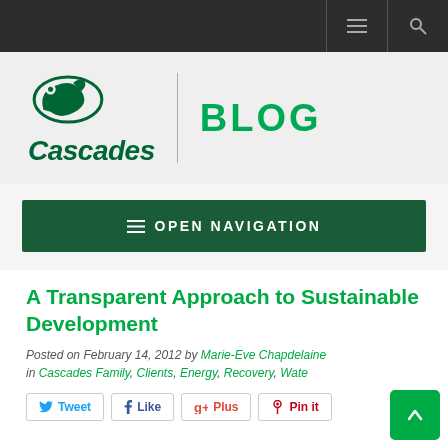Cascades BLOG
≡ OPEN NAVIGATION
A Transparent Approach to Sustainable Development
Posted on February 14, 2012 by Marie-Eve Chapdelaine in Cascades Family, Clients, Energy, Recovery, Water
Tweet  Like  Plus  Pin it